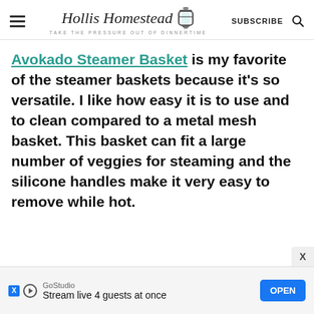Hollis Homestead — TAKE THE PRESSURE OUT OF DINNERTIME — SUBSCRIBE
Avokado Steamer Basket is my favorite of the steamer baskets because it's so versatile. I like how easy it is to use and to clean compared to a metal mesh basket. This basket can fit a large number of veggies for steaming and the silicone handles make it very easy to remove while hot.
GoStudio — Stream live 4 guests at once — OPEN